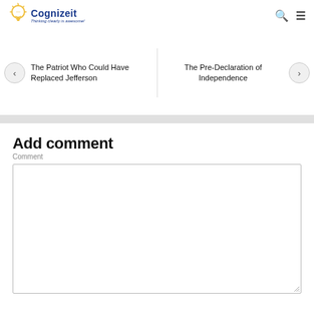Cognizeit — Thinking clearly is awesome!
The Patriot Who Could Have Replaced Jefferson
The Pre-Declaration of Independence
Add comment
Comment